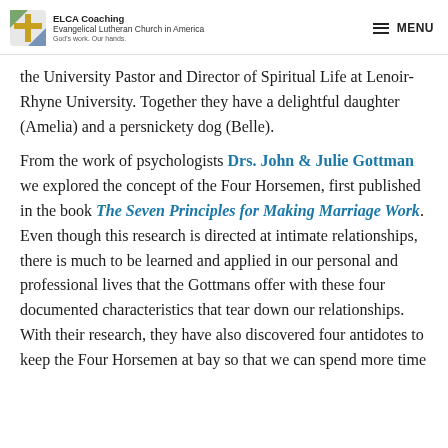ELCA Coaching Evangelical Lutheran Church in America God's work. Our hands. MENU
the University Pastor and Director of Spiritual Life at Lenoir-Rhyne University. Together they have a delightful daughter (Amelia) and a persnickety dog (Belle).
From the work of psychologists Drs. John & Julie Gottman we explored the concept of the Four Horsemen, first published in the book The Seven Principles for Making Marriage Work. Even though this research is directed at intimate relationships, there is much to be learned and applied in our personal and professional lives that the Gottmans offer with these four documented characteristics that tear down our relationships. With their research, they have also discovered four antidotes to keep the Four Horsemen at bay so that we can spend more time